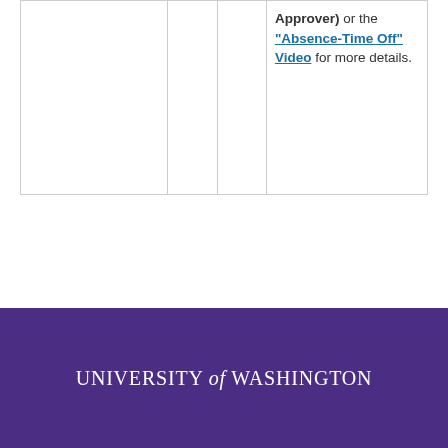|  |  |  | Approver) or the "Absence-Time Off" Video for more details. |
UNIVERSITY of WASHINGTON